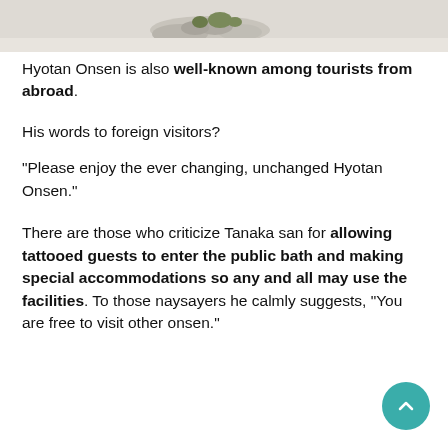[Figure (photo): Partial top view of a Japanese garden or onsen setting with rocks and greenery on a light-colored surface]
Hyotan Onsen is also well-known among tourists from abroad.
His words to foreign visitors?
“Please enjoy the ever changing, unchanged Hyotan Onsen.”
There are those who criticize Tanaka san for allowing tattooed guests to enter the public bath and making special accommodations so any and all may use the facilities. To those naysayers he calmly suggests, “You are free to visit other onsen.”